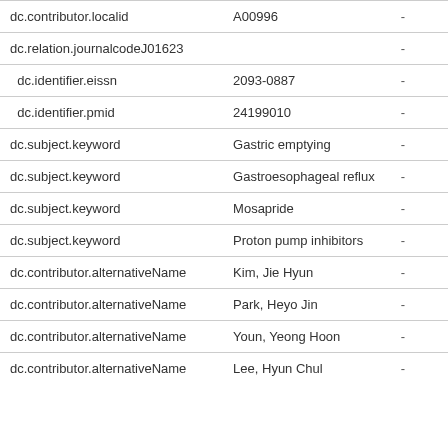| Field | Value |  |
| --- | --- | --- |
| dc.contributor.localid | A00996 | - |
| dc.relation.journalcodeJ01623 |  | - |
| dc.identifier.eissn | 2093-0887 | - |
| dc.identifier.pmid | 24199010 | - |
| dc.subject.keyword | Gastric emptying | - |
| dc.subject.keyword | Gastroesophageal reflux | - |
| dc.subject.keyword | Mosapride | - |
| dc.subject.keyword | Proton pump inhibitors | - |
| dc.contributor.alternativeName | Kim, Jie Hyun | - |
| dc.contributor.alternativeName | Park, Heyo Jin | - |
| dc.contributor.alternativeName | Youn, Yeong Hoon | - |
| dc.contributor.alternativeName | Lee, Hyun Chul | - |